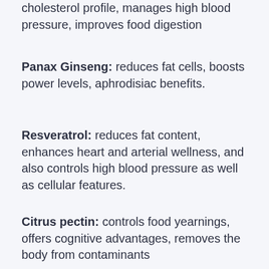cholesterol profile, manages high blood pressure, improves food digestion
Panax Ginseng: reduces fat cells, boosts power levels, aphrodisiac benefits.
Resveratrol: reduces fat content, enhances heart and arterial wellness, and also controls high blood pressure as well as cellular features.
Citrus pectin: controls food yearnings, offers cognitive advantages, removes the body from contaminants
ECGC: deal fat loss, high antioxidant matter, boosted heart and also brain wellness